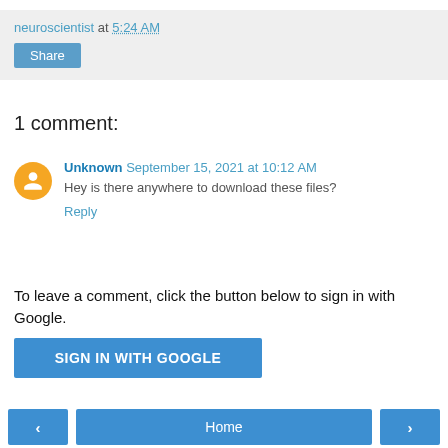neuroscientist at 5:24 AM
Share
1 comment:
Unknown September 15, 2021 at 10:12 AM
Hey is there anywhere to download these files?
Reply
To leave a comment, click the button below to sign in with Google.
SIGN IN WITH GOOGLE
‹  Home  ›